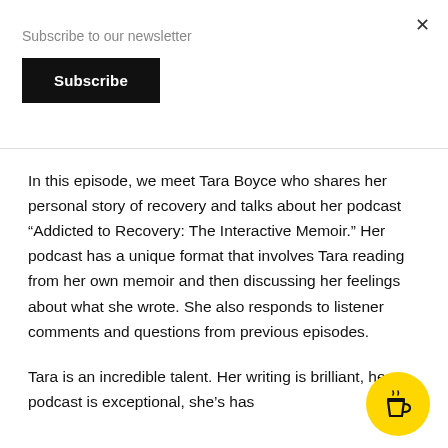Subscribe to our newsletter
Subscribe
In this episode, we meet Tara Boyce who shares her personal story of recovery and talks about her podcast “Addicted to Recovery: The Interactive Memoir.” Her podcast has a unique format that involves Tara reading from her own memoir and then discussing her feelings about what she wrote. She also responds to listener comments and questions from previous episodes.
Tara is an incredible talent. Her writing is brilliant, her podcast is exceptional, she’s has
[Figure (illustration): Yellow circular button with a coffee cup icon (Buy Me a Coffee style), positioned bottom-right corner]